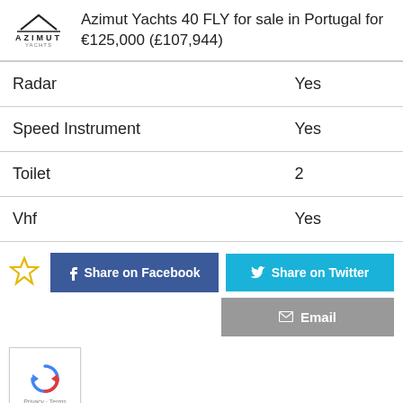Azimut Yachts 40 FLY for sale in Portugal for €125,000 (£107,944)
| Feature | Value |
| --- | --- |
| Radar | Yes |
| Speed Instrument | Yes |
| Toilet | 2 |
| Vhf | Yes |
Share on Facebook | Share on Twitter | Email
[Figure (other): reCAPTCHA widget with logo, privacy and terms links]
SAME MODEL BOATS FOR